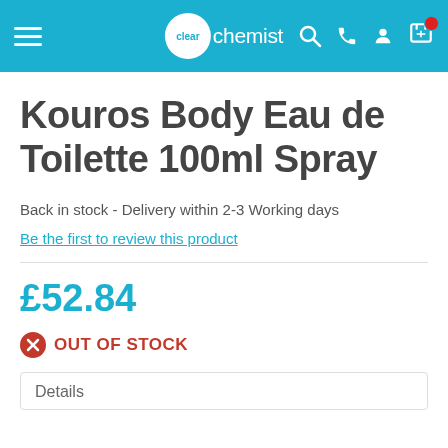Clear Chemist
Kouros Body Eau de Toilette 100ml Spray
Back in stock - Delivery within 2-3 Working days
Be the first to review this product
£52.84
OUT OF STOCK
Details